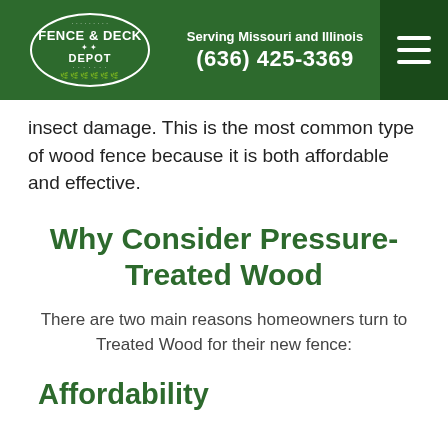Fence & Deck Depot | Serving Missouri and Illinois | (636) 425-3369
insect damage. This is the most common type of wood fence because it is both affordable and effective.
Why Consider Pressure-Treated Wood
There are two main reasons homeowners turn to Treated Wood for their new fence:
Affordability